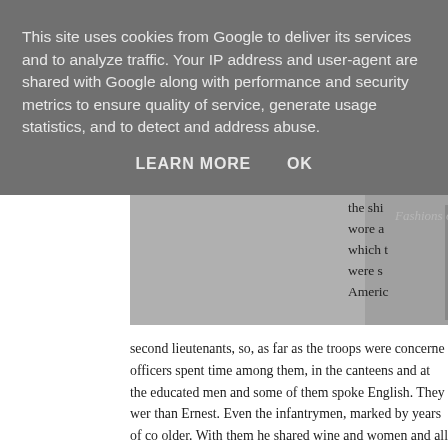This site uses cookies from Google to deliver its services and to analyze traffic. Your IP address and user-agent are shared with Google along with performance and security metrics to ensure quality of service, generate usage statistics, and to detect and address abuse.
LEARN MORE    OK
[Figure (photo): Black and white photograph of a person in a leather jacket, partially visible, with text overlay at top]
wore a which t were s Americ
second lieutenants, so, as far as the troops were concerne officers spent time among them, in the canteens and at the educated men and some of them spoke English. They wer than Ernest. Even the infantrymen, marked by years of co older. With them he shared wine and women and all those been unthinkable at home in America. The American Red running a canteen post, putting men and materials at his d which he could move around without asking anyone's perm a grown-up world, and he was held in consideration both a